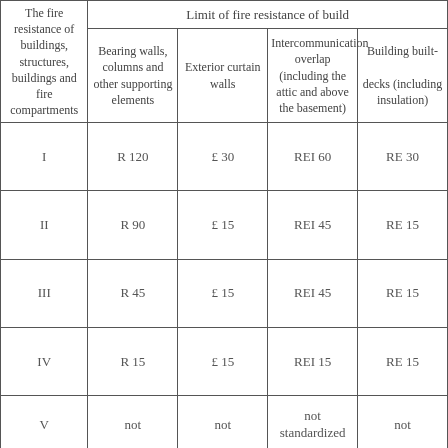| The fire resistance of buildings, structures, buildings and fire compartments | Bearing walls, columns and other supporting elements | Exterior curtain walls | Intercommunication overlap (including the attic and above the basement) | Building built- / decks (including insulation) |
| --- | --- | --- | --- | --- |
| I | R 120 | £ 30 | REI 60 | RE 30 |
| II | R 90 | £ 15 | REI 45 | RE 15 |
| III | R 45 | £ 15 | REI 45 | RE 15 |
| IV | R 15 | £ 15 | REI 15 | RE 15 |
| V | not | not | not standardized | not |